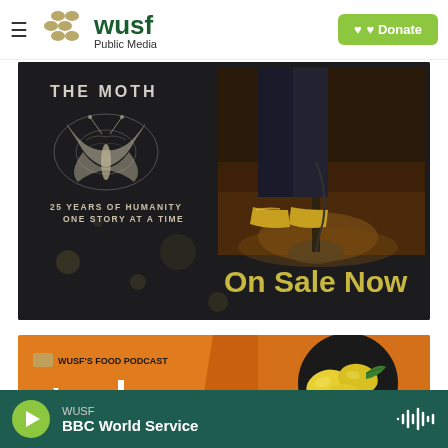WUSF Public Media — Donate
[Figure (photo): The Moth promotional image: dark background with moth illustration, text '25 YEARS OF HUMANITY ONE STORY AT A TIME', photo of gold shoes at a microphone stand, and large text 'On Sale Now']
[Figure (photo): WUSF's Food Podcast banner: orange/yellow background with wusf logo, text 'WUSF'S FOOD PODCAST', script text 'the', and photo of lemons in a dark bowl]
WUSF — BBC World Service (audio player bar)